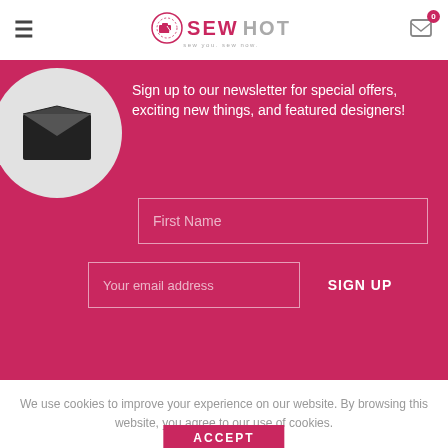Sew Hot — sew you. sew now. (header with hamburger menu, logo, cart)
[Figure (illustration): Open envelope icon inside a light grey circle on pink background]
Sign up to our newsletter for special offers, exciting new things, and featured designers!
First Name (input placeholder)
Your email address (input placeholder)
SIGN UP
We use cookies to improve your experience on our website. By browsing this website, you agree to our use of cookies.
ACCEPT